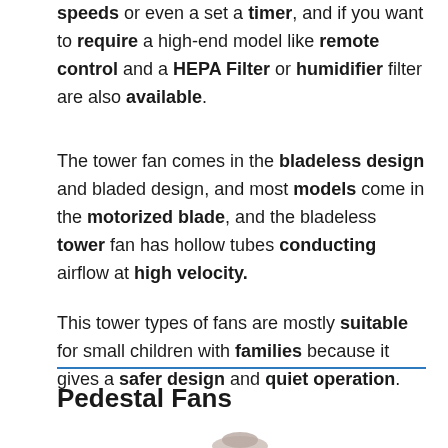speeds or even a set a timer, and if you want to require a high-end model like remote control and a HEPA Filter or humidifier filter are also available.
The tower fan comes in the bladeless design and bladed design, and most models come in the motorized blade, and the bladeless tower fan has hollow tubes conducting airflow at high velocity.
This tower types of fans are mostly suitable for small children with families because it gives a safer design and quiet operation.
Pedestal Fans
[Figure (photo): Partial image of a pedestal fan at the bottom of the page]